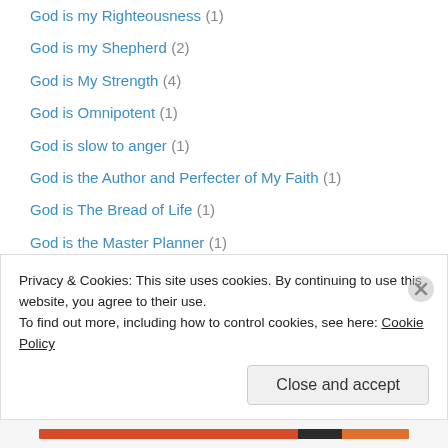God is my Righteousness (1)
God is my Shepherd (2)
God is My Strength (4)
God is Omnipotent (1)
God is slow to anger (1)
God is the Author and Perfecter of My Faith (1)
God is The Bread of Life (1)
God is the Master Planner (1)
God is the Prince of Peace (2)
God is There (3)
God is Wise (2)
my god is a communicator (2)
My God is a fortified tower (1)
My God is a Gift Giver (2)
Privacy & Cookies: This site uses cookies. By continuing to use this website, you agree to their use. To find out more, including how to control cookies, see here: Cookie Policy
Close and accept